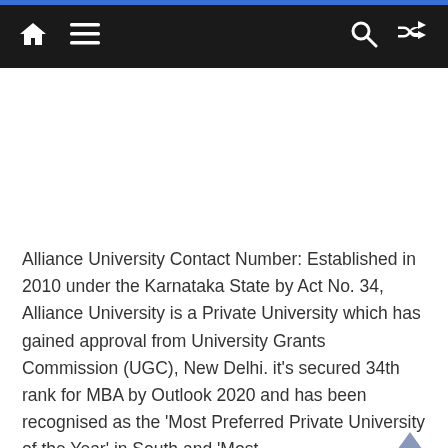Navigation bar with home, menu, search, and shuffle icons
[Figure (other): Advertisement or image placeholder area (blank white space)]
Alliance University Contact Number: Established in 2010 under the Karnataka State by Act No. 34, Alliance University is a Private University which has gained approval from University Grants Commission (UGC), New Delhi. it's secured 34th rank for MBA by Outlook 2020 and has been recognised as the 'Most Preferred Private University of the Year' in South and 'Most